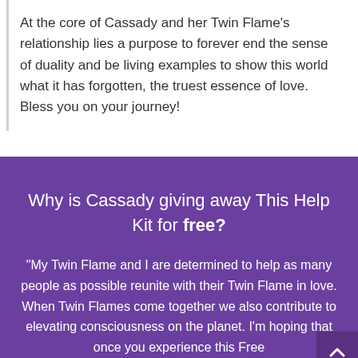At the core of Cassady and her Twin Flame's relationship lies a purpose to forever end the sense of duality and be living examples to show this world what it has forgotten, the truest essence of love. Bless you on your journey!
Why is Cassady giving away This Help Kit for free?
"My Twin Flame and I are determined to help as many people as possible reunite with their Twin Flame in love. When Twin Flames come together we also contribute to elevating consciousness on the planet. I'm hoping that once you experience this Free